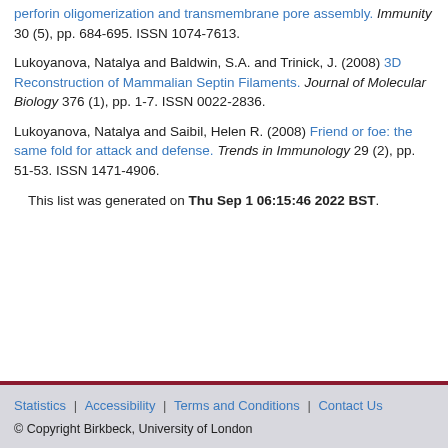perforin oligomerization and transmembrane pore assembly. Immunity 30 (5), pp. 684-695. ISSN 1074-7613.
Lukoyanova, Natalya and Baldwin, S.A. and Trinick, J. (2008) 3D Reconstruction of Mammalian Septin Filaments. Journal of Molecular Biology 376 (1), pp. 1-7. ISSN 0022-2836.
Lukoyanova, Natalya and Saibil, Helen R. (2008) Friend or foe: the same fold for attack and defense. Trends in Immunology 29 (2), pp. 51-53. ISSN 1471-4906.
This list was generated on Thu Sep 1 06:15:46 2022 BST.
Statistics | Accessibility | Terms and Conditions | Contact Us © Copyright Birkbeck, University of London